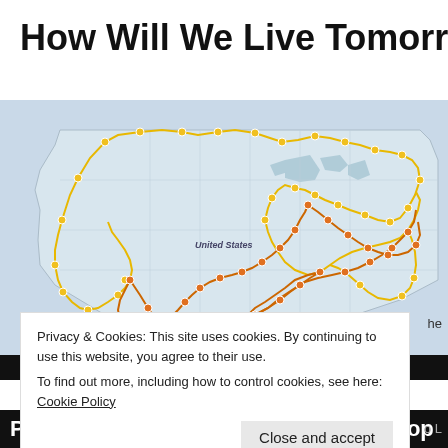How Will We Live Tomorrow?
[Figure (map): Map of the United States showing two road trip routes traced with dots — one in yellow/gold along the northern and western perimeter, another in orange along the southern interior. Dots mark stops along each route.]
Privacy & Cookies: This site uses cookies. By continuing to use this website, you agree to their use.
To find out more, including how to control cookies, see here: Cookie Policy
Close and accept
Profile Response: Rose Swan Workshop